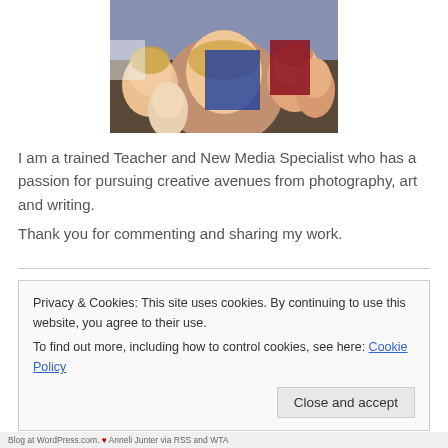[Figure (photo): Old photograph showing a group of smiling people, taken in the 1980s or 1990s. A blonde woman is prominently in the center-foreground, with other people visible behind her.]
I am a trained Teacher and New Media Specialist who has a passion for pursuing creative avenues from photography, art and writing.
Thank you for commenting and sharing my work.
Privacy & Cookies: This site uses cookies. By continuing to use this website, you agree to their use.
To find out more, including how to control cookies, see here: Cookie Policy
Close and accept
Blog at WordPress.com. ❤ Anneli Junter via RSS and WTA